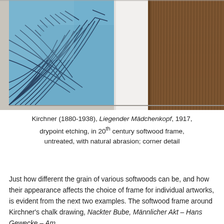[Figure (photo): Close-up photograph showing a detail of a drypoint etching framed in a softwood frame. Left portion shows blue etching with dark expressive linework. Center shows white mat board. Right portion shows the natural brown softwood frame with visible grain texture. Light grey-beige wall visible in background. Corner detail of the frame.]
Kirchner (1880-1938), Liegender Mädchenkopf, 1917, drypoint etching, in 20th century softwood frame, untreated, with natural abrasion; corner detail
Just how different the grain of various softwoods can be, and how their appearance affects the choice of frame for individual artworks, is evident from the next two examples. The softwood frame around Kirchner's chalk drawing, Nackter Bube, Männlicher Akt – Hans Gewecke – Am